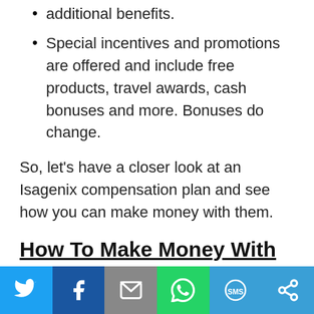additional benefits.
Special incentives and promotions are offered and include free products, travel awards, cash bonuses and more. Bonuses do change.
So, let's have a closer look at an Isagenix compensation plan and see how you can make money with them.
How To Make Money With Isagenix
Isagenix, like other MLM companies, offer you several ways to earn money:
[Figure (other): Social sharing buttons bar at bottom: Twitter (blue), Facebook (dark blue), Email (gray), WhatsApp (green), SMS (blue), More (blue)]